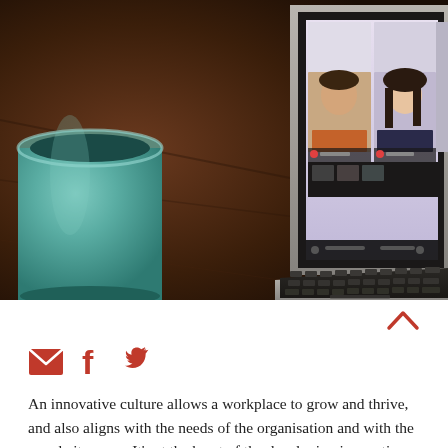[Figure (photo): A laptop displaying a video conference call with multiple participants in a grid layout, photographed alongside a green ceramic mug on a wooden table. The laptop keyboard is visible in the foreground.]
[Figure (infographic): Red upward chevron/caret icon and three red social media icons: email envelope, Facebook f, and Twitter bird.]
An innovative culture allows a workplace to grow and thrive, and also aligns with the needs of the organisation and with the people it serves. It's at the heart of the developing innovation strategy here at Crisis, which is